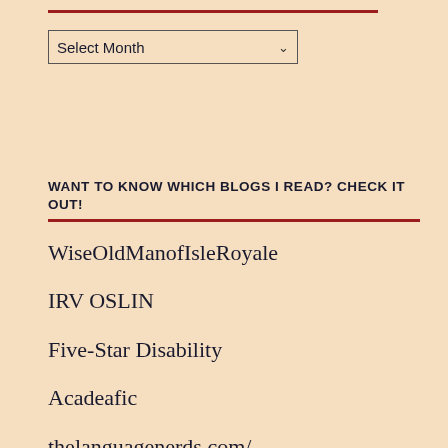[Figure (other): Red horizontal rule at top]
Select Month
WANT TO KNOW WHICH BLOGS I READ? CHECK IT OUT!
WiseOldManofIsleRoyale
IRV OSLIN
Five-Star Disability
Acadeafic
thelanguagenerds.com/